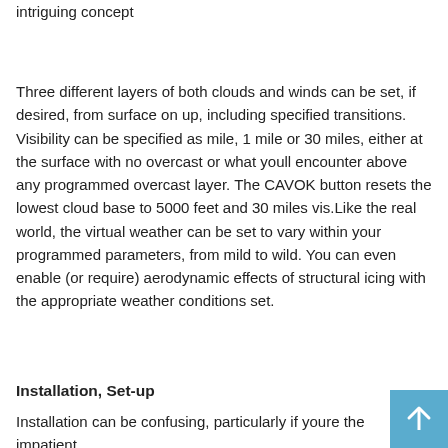intriguing concept
Three different layers of both clouds and winds can be set, if desired, from surface on up, including specified transitions. Visibility can be specified as mile, 1 mile or 30 miles, either at the surface with no overcast or what youll encounter above any programmed overcast layer. The CAVOK button resets the lowest cloud base to 5000 feet and 30 miles vis.Like the real world, the virtual weather can be set to vary within your programmed parameters, from mild to wild. You can even enable (or require) aerodynamic effects of structural icing with the appropriate weather conditions set.
Installation, Set-up
Installation can be confusing, particularly if youre the impatient